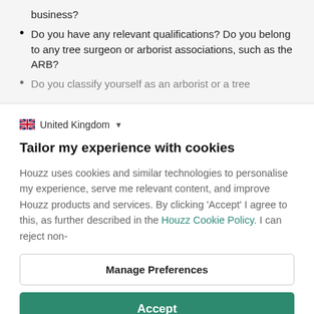business?
Do you have any relevant qualifications? Do you belong to any tree surgeon or arborist associations, such as the ARB?
Do you classify yourself as an arborist or a tree
United Kingdom
Tailor my experience with cookies
Houzz uses cookies and similar technologies to personalise my experience, serve me relevant content, and improve Houzz products and services. By clicking 'Accept' I agree to this, as further described in the Houzz Cookie Policy. I can reject non-
Manage Preferences
Accept